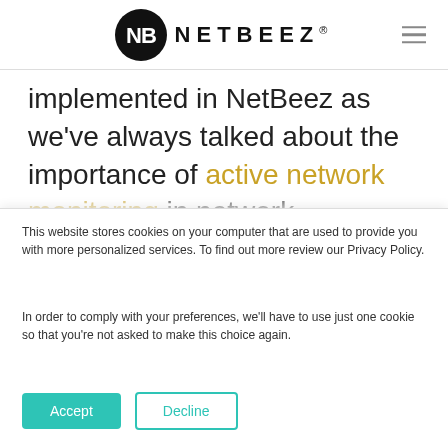NETBEEZ
implemented in NetBeez as we’ve always talked about the importance of active network monitoring in network management. That’s where
This website stores cookies on your computer that are used to provide you with more personalized services. To find out more review our Privacy Policy.
In order to comply with your preferences, we’ll have to use just one cookie so that you’re not asked to make this choice again.
Accept  Decline